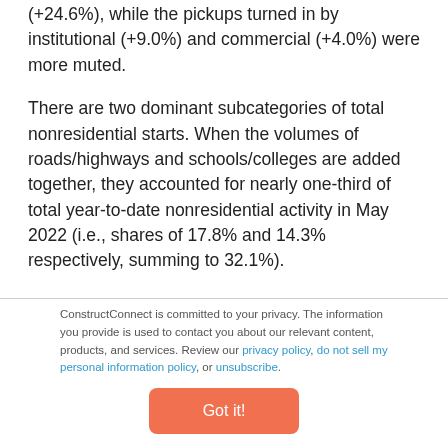(+24.6%), while the pickups turned in by institutional (+9.0%) and commercial (+4.0%) were more muted.
There are two dominant subcategories of total nonresidential starts. When the volumes of roads/highways and schools/colleges are added together, they accounted for nearly one-third of total year-to-date nonresidential activity in May 2022 (i.e., shares of 17.8% and 14.3% respectively, summing to 32.1%).
ConstructConnect is committed to your privacy. The information you provide is used to contact you about our relevant content, products, and services. Review our privacy policy, do not sell my personal information policy, or unsubscribe.